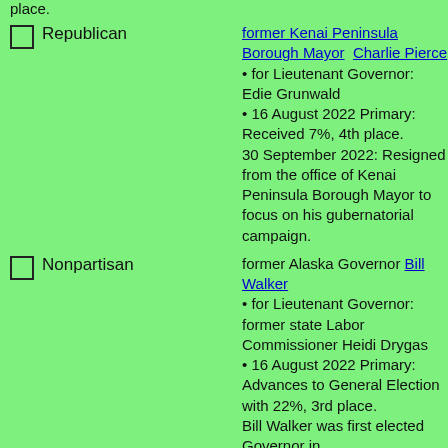place.
Republican — former Kenai Peninsula Borough Mayor Charlie Pierce • for Lieutenant Governor: Edie Grunwald • 16 August 2022 Primary: Received 7%, 4th place. 30 September 2022: Resigned from the office of Kenai Peninsula Borough Mayor to focus on his gubernatorial campaign.
Nonpartisan — former Alaska Governor Bill Walker • for Lieutenant Governor: former state Labor Commissioner Heidi Drygas • 16 August 2022 Primary: Advances to General Election with 22%, 3rd place. Bill Walker was first elected Governor in